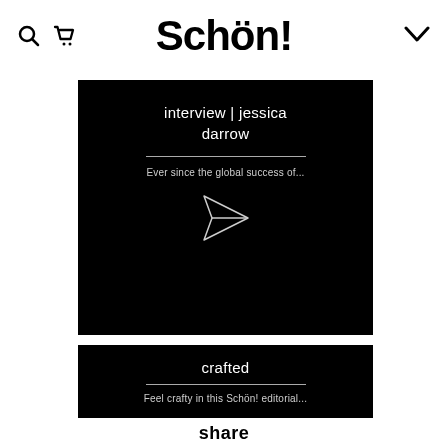Schön!
[Figure (other): Black card with interview title 'interview | jessica darrow', a divider line, subtitle text 'Ever since the global success of...', and a paper plane icon in the center]
[Figure (other): Black card with the word 'crafted', a divider line, and subtitle text 'Feel crafty in this Schön! editorial...']
share